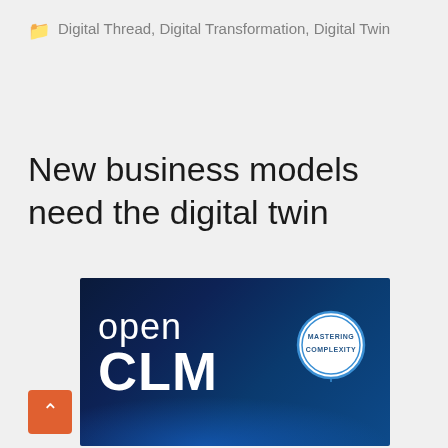Digital Thread, Digital Transformation, Digital Twin
New business models need the digital twin
[Figure (logo): openCLM logo banner with dark blue background, 'open CLM' text in white, and a circle badge reading 'MASTERING COMPLEXITY']